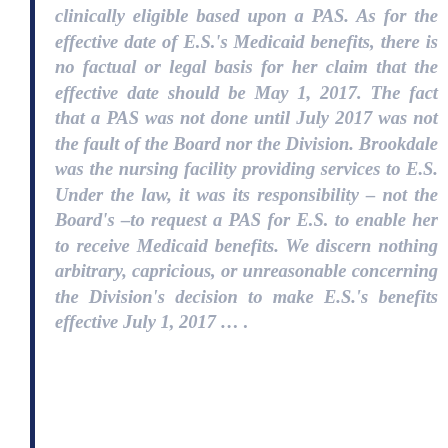clinically eligible based upon a PAS. As for the effective date of E.S.'s Medicaid benefits, there is no factual or legal basis for her claim that the effective date should be May 1, 2017. The fact that a PAS was not done until July 2017 was not the fault of the Board nor the Division. Brookdale was the nursing facility providing services to E.S. Under the law, it was its responsibility – not the Board's –to request a PAS for E.S. to enable her to receive Medicaid benefits. We discern nothing arbitrary, capricious, or unreasonable concerning the Division's decision to make E.S.'s benefits effective July 1, 2017 … .